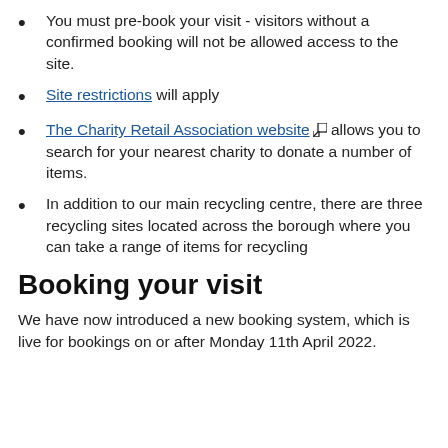You must pre-book your visit - visitors without a confirmed booking will not be allowed access to the site.
Site restrictions will apply
The Charity Retail Association website [external link] allows you to search for your nearest charity to donate a number of items.
In addition to our main recycling centre, there are three recycling sites located across the borough where you can take a range of items for recycling
Booking your visit
We have now introduced a new booking system, which is live for bookings on or after Monday 11th April 2022.